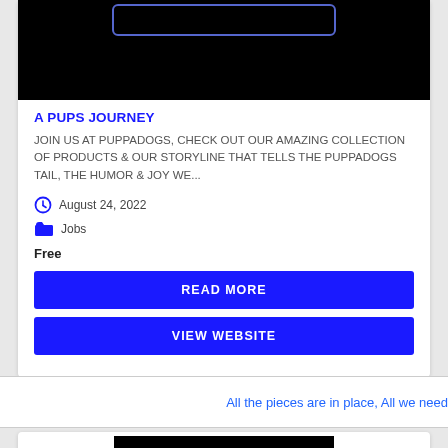[Figure (screenshot): Black image area with a rounded rectangle button outline visible at top, cropped website screenshot]
A PUPS JOURNEY
JOIN US AT PUPPADOGS, CHECK OUT OUR AMAZING COLLECTION OF PRODUCTS & OUR STORYLINE THAT TELLS THE PUPPADOGS TAIL, THE HUMOR & JOY WE...
August 24, 2022
Jobs
Free
READ MORE
VIEW WEBSITE
All the pieces are in place, All we need